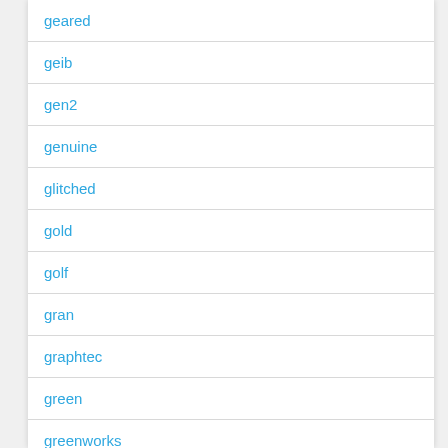geared
geib
gen2
genuine
glitched
gold
golf
gran
graphtec
green
greenworks
gx20249
gx22151